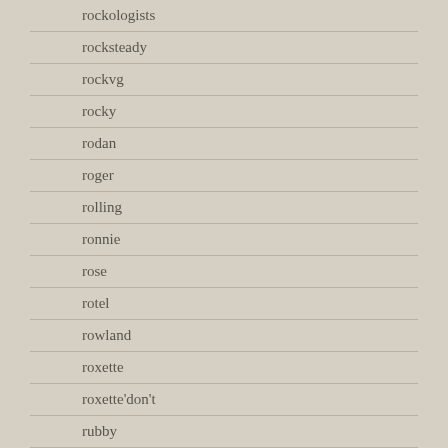rockologists
rocksteady
rockvg
rocky
rodan
roger
rolling
ronnie
rose
rotel
rowland
roxette
roxette'don't
rubby
rufus
rugrats